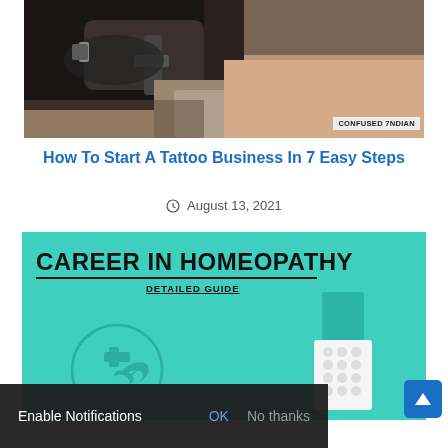[Figure (photo): A tattoo artist's gloved hand working on a tattoo on someone's arm. A watermark reads 'CONFUSED 7NDIAN' in the bottom right corner.]
How To Start A Tattoo Business In 7 Easy Steps
August 13, 2021
[Figure (illustration): A teal-colored promotional image for 'CAREER IN HOMEOPATHY - DETAILED GUIDE' featuring a medical cross with leaf icon in a circle and pill bottle with capsules.]
Enable Notifications  OK  No thanks